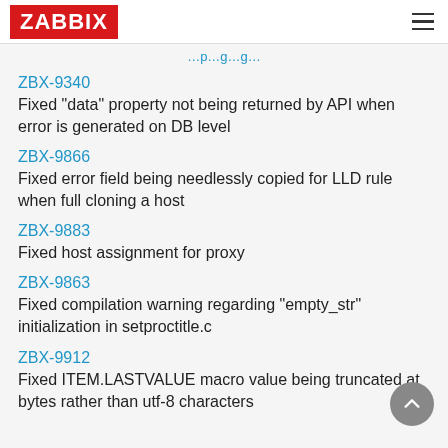ZABBIX
…p…g…g…
ZBX-9340
Fixed "data" property not being returned by API when error is generated on DB level
ZBX-9866
Fixed error field being needlessly copied for LLD rule when full cloning a host
ZBX-9883
Fixed host assignment for proxy
ZBX-9863
Fixed compilation warning regarding "empty_str" initialization in setproctitle.c
ZBX-9912
Fixed ITEM.LASTVALUE macro value being truncated at bytes rather than utf-8 characters